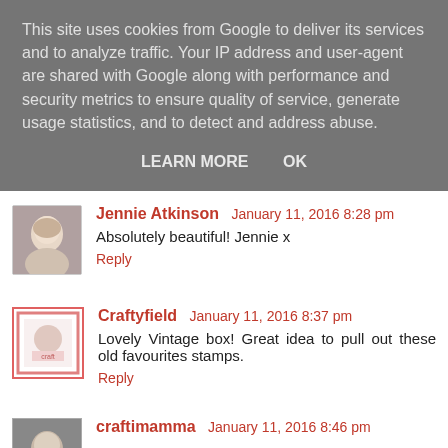This site uses cookies from Google to deliver its services and to analyze traffic. Your IP address and user-agent are shared with Google along with performance and security metrics to ensure quality of service, generate usage statistics, and to detect and address abuse.
LEARN MORE    OK
Jennie Atkinson  January 11, 2016 8:28 pm
Absolutely beautiful! Jennie x
Reply
Craftyfield  January 11, 2016 8:37 pm
Lovely Vintage box! Great idea to pull out these old favourites stamps.
Reply
craftimamma  January 11, 2016 8:46 pm